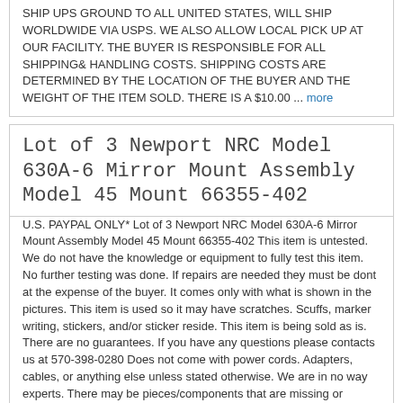SHIP UPS GROUND TO ALL UNITED STATES, WILL SHIP WORLDWIDE VIA USPS. WE ALSO ALLOW LOCAL PICK UP AT OUR FACILITY. THE BUYER IS RESPONSIBLE FOR ALL SHIPPING& HANDLING COSTS. SHIPPING COSTS ARE DETERMINED BY THE LOCATION OF THE BUYER AND THE WEIGHT OF THE ITEM SOLD. THERE IS A $10.00 ... more
Lot of 3 Newport NRC Model 630A-6 Mirror Mount Assembly Model 45 Mount 66355-402
U.S. PAYPAL ONLY* Lot of 3 Newport NRC Model 630A-6 Mirror Mount Assembly Model 45 Mount 66355-402 This item is untested. We do not have the knowledge or equipment to fully test this item. No further testing was done. If repairs are needed they must be dont at the expense of the buyer. It comes only with what is shown in the pictures. This item is used so it may have scratches. Scuffs, marker writing, stickers, and/or sticker reside. This item is being sold as is. There are no guarantees. If you have any questions please contacts us at 570-398-0280 Does not come with power cords. Adapters, cables, or anything else unless stated otherwise. We are in no way experts. There may be pieces/components that are missing or broken that we are too inexperienced to notice. We do not accept combined PayPal payments for items purchased on Ebay. Each item ... more
New Port NRC Optical Mirror Mounts Model 600A-2 Laser Optics Photonics